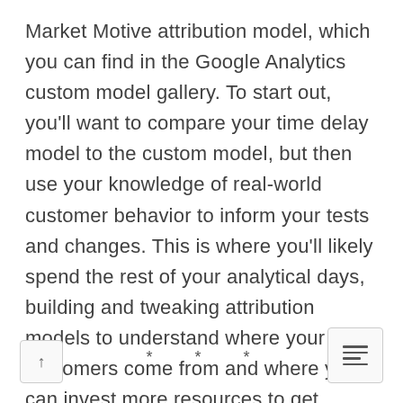Market Motive attribution model, which you can find in the Google Analytics custom model gallery. To start out, you'll want to compare your time delay model to the custom model, but then use your knowledge of real-world customer behavior to inform your tests and changes. This is where you'll likely spend the rest of your analytical days, building and tweaking attribution models to understand where your customers come from and where you can invest more resources to get greater ROI.
* * *